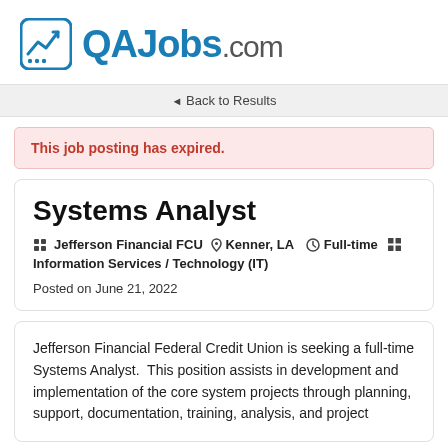QAJobs.com
Back to Results
This job posting has expired.
Systems Analyst
Jefferson Financial FCU  Kenner, LA  Full-time  Information Services / Technology (IT)
Posted on June 21, 2022
Jefferson Financial Federal Credit Union is seeking a full-time Systems Analyst.  This position assists in development and implementation of the core system projects through planning, support, documentation, training, analysis, and project